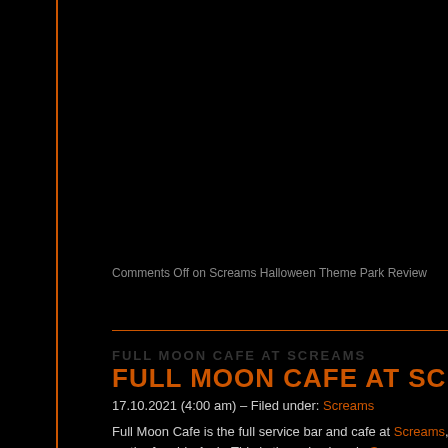Comments Off on Screams Halloween Theme Park Review
FULL MOON CAFE AT SCREAMS
17.10.2021 (4:00 am) – Filed under: Screams
Full Moon Cafe is the full service bar and cafe at Screams, on the far side Arch. This is the only place in Screams where you can eat, drink, and pay great bartenders, Cheltsey and Michael, and a sweet server named Carolin